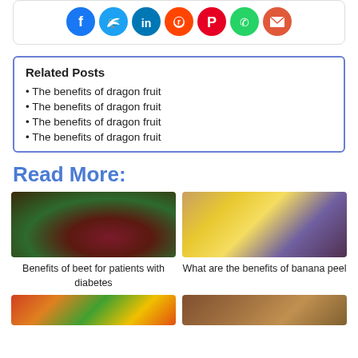[Figure (infographic): Social media share icons: Facebook (blue), Twitter (light blue), LinkedIn (blue), Reddit (orange-red), Pinterest (red), WhatsApp (green), Email (red-orange)]
Related Posts
The benefits of dragon fruit
The benefits of dragon fruit
The benefits of dragon fruit
The benefits of dragon fruit
Read More:
[Figure (photo): Photo of beet roots on a wooden surface with green leaves in background]
[Figure (photo): Photo of a hand peeling a banana]
Benefits of beet for patients with diabetes
What are the benefits of banana peel
[Figure (photo): Photo of mixed colorful vegetables and fruits]
[Figure (photo): Photo related to another article]